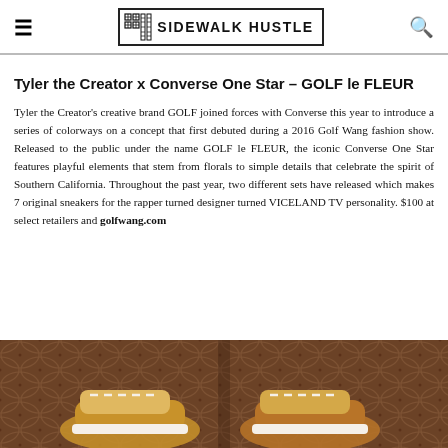≡  SIDEWALK HUSTLE  🔍
Tyler the Creator x Converse One Star – GOLF le FLEUR
Tyler the Creator's creative brand GOLF joined forces with Converse this year to introduce a series of colorways on a concept that first debuted during a 2016 Golf Wang fashion show. Released to the public under the name GOLF le FLEUR, the iconic Converse One Star features playful elements that stem from florals to simple details that celebrate the spirit of Southern California. Throughout the past year, two different sets have released which makes 7 original sneakers for the rapper turned designer turned VICELAND TV personality. $100 at select retailers and golfwang.com
[Figure (photo): Photo of two Converse sneakers (GOLF le FLEUR) on a brown quilted leather surface, shot from above]